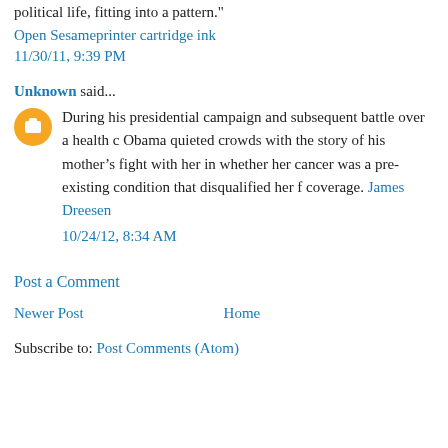political life, fitting into a pattern."
Open Sesameprinter cartridge ink
11/30/11, 9:39 PM
Unknown said...
During his presidential campaign and subsequent battle over a health c Obama quieted crowds with the story of his mother's fight with her in whether her cancer was a pre-existing condition that disqualified her f coverage. James Dreesen
10/24/12, 8:34 AM
Post a Comment
Newer Post
Home
Subscribe to: Post Comments (Atom)